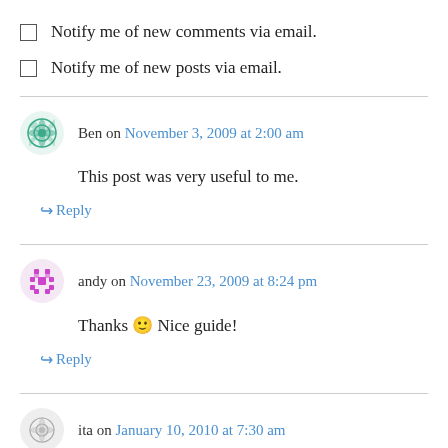Notify me of new comments via email.
Notify me of new posts via email.
Ben on November 3, 2009 at 2:00 am
This post was very useful to me.
Reply
andy on November 23, 2009 at 8:24 pm
Thanks 🙂 Nice guide!
Reply
ita on January 10, 2010 at 7:30 am